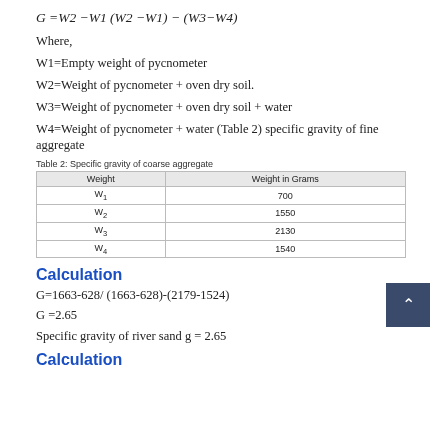Where,
W1=Empty weight of pycnometer
W2=Weight of pycnometer + oven dry soil.
W3=Weight of pycnometer + oven dry soil + water
W4=Weight of pycnometer + water (Table 2) specific gravity of fine aggregate
Table 2: Specific gravity of coarse aggregate
| Weight | Weight in Grams |
| --- | --- |
| W₁ | 700 |
| W₂ | 1550 |
| W₃ | 2130 |
| W₄ | 1540 |
Calculation
G=1663-628/ (1663-628)-(2179-1524)
G =2.65
Specific gravity of river sand g = 2.65
Calculation